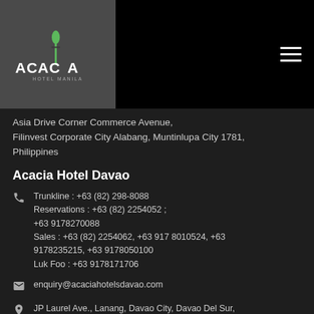[Figure (logo): Acacia Hotel Manila logo — stylized text with green leaf accent]
Asia Drive Corner Commerce Avenue, Filinvest Corporate City Alabang, Muntinlupa City 1781, Philippines
Acacia Hotel Davao
Trunkline : +63 (82) 298-8088
Reservations : +63 (82) 2254052 ; +63 9178270088
Sales : +63 (82) 2254062, +63 917 8010524, +63 9178235215, +63 9178050100
Luk Foo : +63 9178171706
enquiry@acaciahotelsdavao.com
JP Laurel Ave., Lanang, Davao City, Davao Del Sur, 8000
Acacia Hotel Bacolod